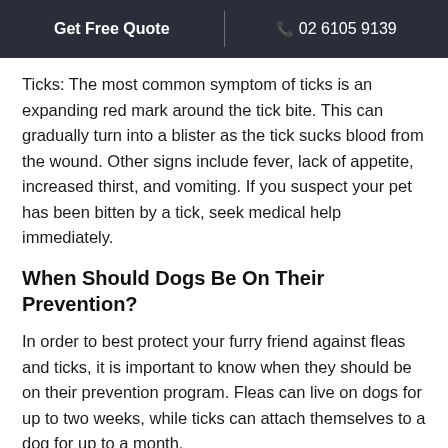Get Free Quote | 02 6105 9139
Ticks: The most common symptom of ticks is an expanding red mark around the tick bite. This can gradually turn into a blister as the tick sucks blood from the wound. Other signs include fever, lack of appetite, increased thirst, and vomiting. If you suspect your pet has been bitten by a tick, seek medical help immediately.
When Should Dogs Be On Their Prevention?
In order to best protect your furry friend against fleas and ticks, it is important to know when they should be on their prevention program. Fleas can live on dogs for up to two weeks, while ticks can attach themselves to a dog for up to a month.